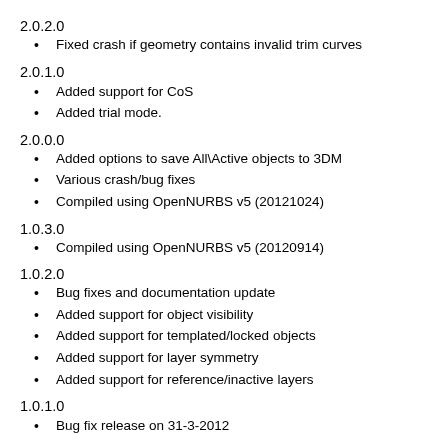2.0.2.0
Fixed crash if geometry contains invalid trim curves
2.0.1.0
Added support for CoS
Added trial mode.
2.0.0.0
Added options to save All\Active objects to 3DM
Various crash/bug fixes
Compiled using OpenNURBS v5 (20121024)
1.0.3.0
Compiled using OpenNURBS v5 (20120914)
1.0.2.0
Bug fixes and documentation update
Added support for object visibility
Added support for templated/locked objects
Added support for layer symmetry
Added support for reference/inactive layers
1.0.1.0
Bug fix release on 31-3-2012
1.0.0.0